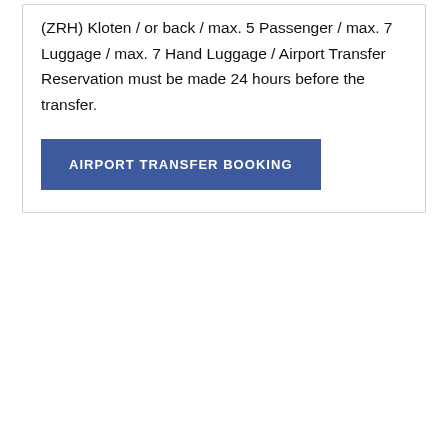(ZRH) Kloten / or back / max. 5 Passenger / max. 7 Luggage / max. 7 Hand Luggage / Airport Transfer Reservation must be made 24 hours before the transfer.
AIRPORT TRANSFER BOOKING